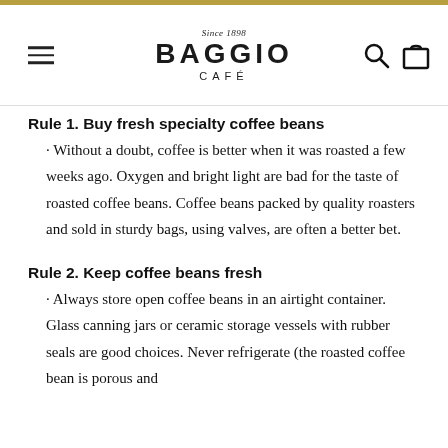Since 1898 BAGGIO CAFÉ
Rule 1. Buy fresh specialty coffee beans
· Without a doubt, coffee is better when it was roasted a few weeks ago. Oxygen and bright light are bad for the taste of roasted coffee beans. Coffee beans packed by quality roasters and sold in sturdy bags, using valves, are often a better bet.
Rule 2. Keep coffee beans fresh
· Always store open coffee beans in an airtight container. Glass canning jars or ceramic storage vessels with rubber seals are good choices. Never refrigerate (the roasted coffee bean is porous and